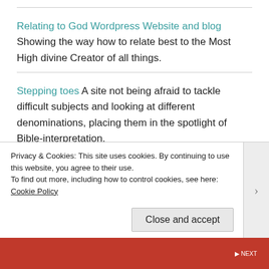Relating to God Wordpress Website and blog Showing the way how to relate best to the Most High divine Creator of all things.
Stepping toes A site not being afraid to tackle difficult subjects and looking at different denominations, placing them in the spotlight of Bible-interpretation.
Vlaamse Broeders in Christus Vlaamse Googlesite welke de Christadelphians of
Privacy & Cookies: This site uses cookies. By continuing to use this website, you agree to their use.
To find out more, including how to control cookies, see here: Cookie Policy
Close and accept